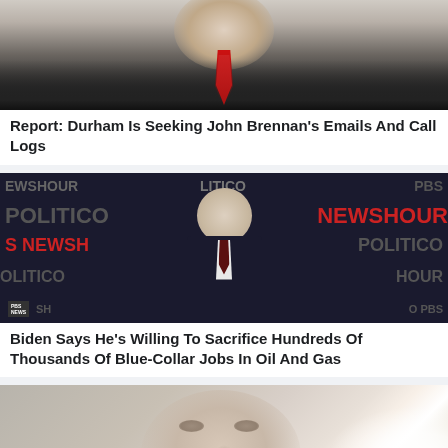[Figure (photo): Cropped photo showing a man in a dark suit with a red tie, face partially visible at top]
Report: Durham Is Seeking John Brennan's Emails And Call Logs
[Figure (photo): Biden speaking at a Politico/PBS NewsHour debate event, dark background with logos]
Biden Says He's Willing To Sacrifice Hundreds Of Thousands Of Blue-Collar Jobs In Oil And Gas
[Figure (photo): Close-up photo of an older man's face with bright light in background]